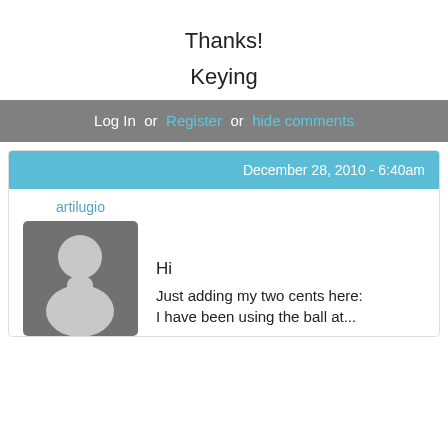Thanks!
Keying
Log In  or  Register  or  hide comments
December 28, 2010 - 6:40am
artilugio
[Figure (illustration): Default user avatar placeholder — grey background with silhouette of a person (head and shoulders)]
Hi
Just adding my two cents here:
I have been using the ball at...